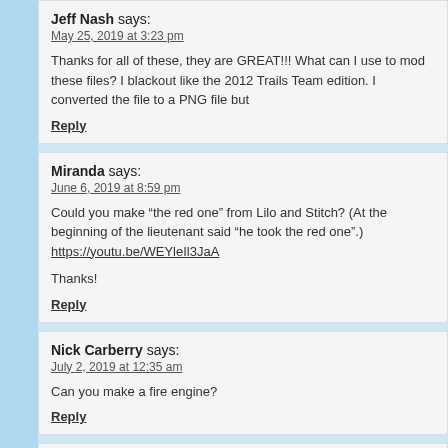Jeff Nash says:
May 25, 2019 at 3:23 pm
Thanks for all of these, they are GREAT!!! What can I use to mod these files? I blackout like the 2012 Trails Team edition. I converted the file to a PNG file but
Reply
Miranda says:
June 6, 2019 at 8:59 pm
Could you make “the red one” from Lilo and Stitch? (At the beginning of the lieutenant said “he took the red one”.) https://youtu.be/WEYleIl3JaA
Thanks!
Reply
Nick Carberry says:
July 2, 2019 at 12:35 am
Can you make a fire engine?
Reply
Nick says:
July 2, 2019 at 12:39 am
Can you make a fire engine?
Reply